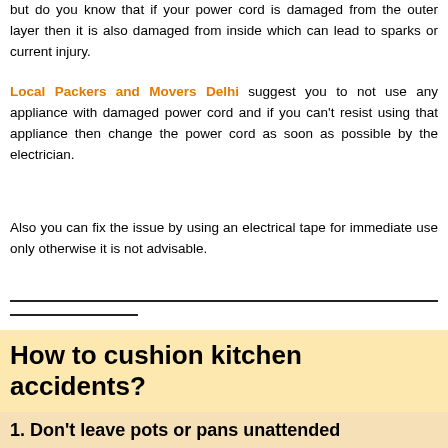but do you know that if your power cord is damaged from the outer layer then it is also damaged from inside which can lead to sparks or current injury.
Local Packers and Movers Delhi suggest you to not use any appliance with damaged power cord and if you can't resist using that appliance then change the power cord as soon as possible by the electrician.
Also you can fix the issue by using an electrical tape for immediate use only otherwise it is not advisable.
How to cushion kitchen accidents?
1. Don't leave pots or pans unattended